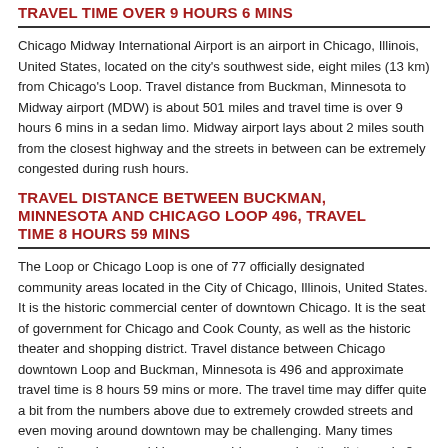TRAVEL TIME OVER 9 HOURS 6 MINS
Chicago Midway International Airport is an airport in Chicago, Illinois, United States, located on the city's southwest side, eight miles (13 km) from Chicago's Loop. Travel distance from Buckman, Minnesota to Midway airport (MDW) is about 501 miles and travel time is over 9 hours 6 mins in a sedan limo. Midway airport lays about 2 miles south from the closest highway and the streets in between can be extremely congested during rush hours.
TRAVEL DISTANCE BETWEEN BUCKMAN, MINNESOTA AND CHICAGO LOOP 496, TRAVEL TIME 8 HOURS 59 MINS
The Loop or Chicago Loop is one of 77 officially designated community areas located in the City of Chicago, Illinois, United States. It is the historic commercial center of downtown Chicago. It is the seat of government for Chicago and Cook County, as well as the historic theater and shopping district. Travel distance between Chicago downtown Loop and Buckman, Minnesota is 496 and approximate travel time is 8 hours 59 mins or more. The travel time may differ quite a bit from the numbers above due to extremely crowded streets and even moving around downtown may be challenging. Many times sedan limousines would have no problem covering the distance in 8 hours 59 mins but please understand that this is pertinant to ideal conditions, so we encourage you to plan